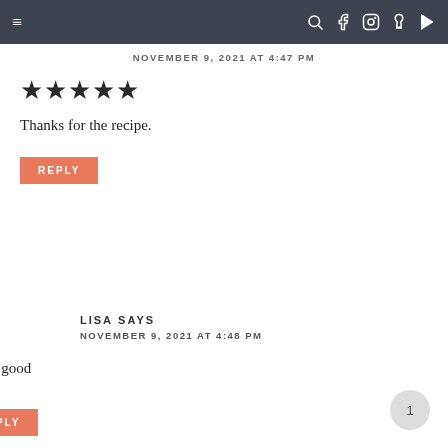navigation bar with hamburger menu and social icons
NOVEMBER 9, 2021 AT 4:47 PM
[Figure (other): Five filled star rating icons]
Thanks for the recipe.
REPLY
LISA SAYS
NOVEMBER 9, 2021 AT 4:48 PM
Looks good
REPLY